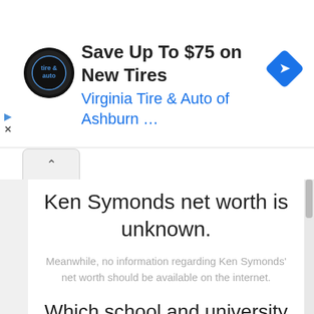[Figure (screenshot): Advertisement banner: Virginia Tire & Auto logo, text 'Save Up To $75 on New Tires', subtitle 'Virginia Tire & Auto of Ashburn …', blue diamond arrow icon]
Ken Symonds net worth is unknown.
Meanwhile, no information regarding Ken Symonds' net worth should be available on the internet.
Which school and university did he attend?
There should be no information concerning Ken Symonds' high school or the institution from which he